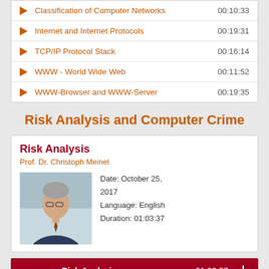Classification of Computer Networks  00:10:33
Internet and Internet Protocols  00:19:31
TCP/IP Protocol Stack  00:16:14
WWW - World Wide Web  00:11:52
WWW-Browser and WWW-Server  00:19:35
Risk Analysis and Computer Crime
Risk Analysis
Prof. Dr. Christoph Meinel
Date: October 25, 2017
Language: English
Duration: 01:03:37
Risk Analysis  01:03:37
Introduction  00:06:36